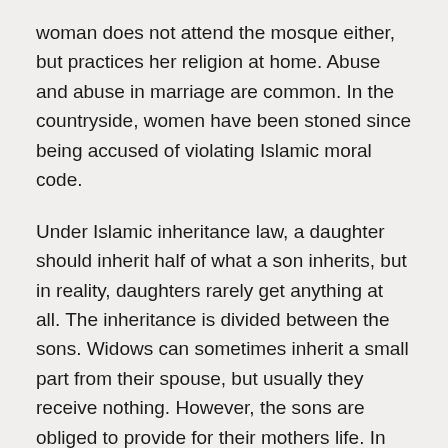woman does not attend the mosque either, but practices her religion at home. Abuse and abuse in marriage are common. In the countryside, women have been stoned since being accused of violating Islamic moral code.
Under Islamic inheritance law, a daughter should inherit half of what a son inherits, but in reality, daughters rarely get anything at all. The inheritance is divided between the sons. Widows can sometimes inherit a small part from their spouse, but usually they receive nothing. However, the sons are obliged to provide for their mothers life. In the Hindu minority, the woman is not entitled to either divorce or inheritance.
CORROSION